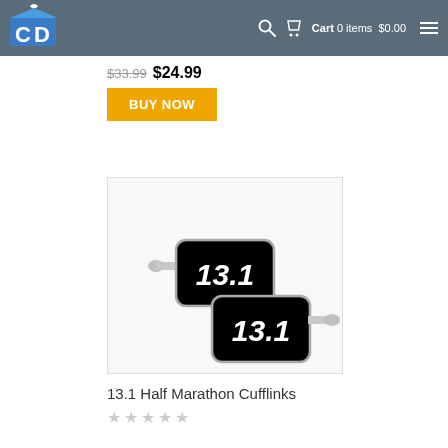CD Logo — Cart 0 items $0.00
$33.99 $24.99
BUY NOW
[Figure (photo): Two black rectangular cufflinks with silver borders and silver toggle posts, each displaying '13.1' in white italic font on a black enamel surface — representing the 13.1 mile half marathon distance.]
13.1 Half Marathon Cufflinks
★★★★★ (empty star rating)